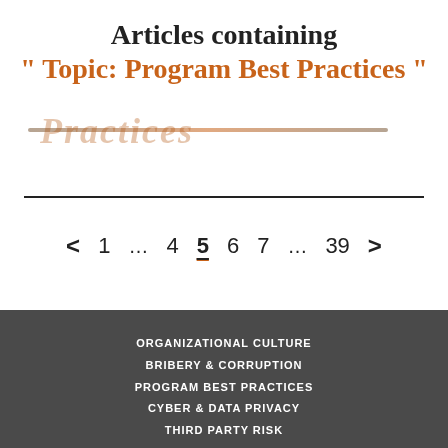Articles containing " Topic: Program Best Practices "
Practices (ghost/watermark text)
< 1 … 4 5 6 7 … 39 >
ORGANIZATIONAL CULTURE
BRIBERY & CORRUPTION
PROGRAM BEST PRACTICES
CYBER & DATA PRIVACY
THIRD PARTY RISK